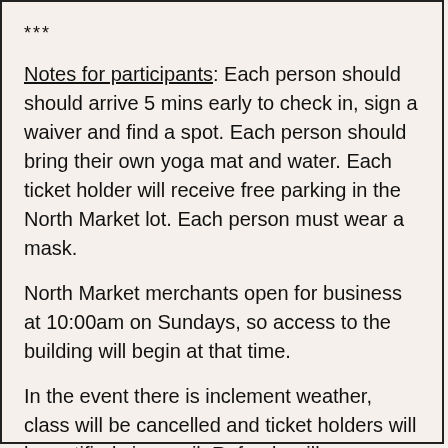***
Notes for participants: Each person should should arrive 5 mins early to check in, sign a waiver and find a spot. Each person should bring their own yoga mat and water. Each ticket holder will receive free parking in the North Market lot. Each person must wear a mask.
North Market merchants open for business at 10:00am on Sundays, so access to the building will begin at that time.
In the event there is inclement weather, class will be cancelled and ticket holders will be notified via email. Refunds will automatically be given for the cancelled class.